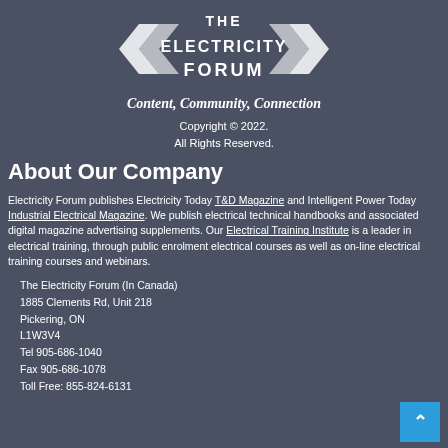[Figure (logo): The Electricity Forum logo with lightning bolt chevrons and text 'THE ELECTRICITY FORUM']
Content, Community, Connection
Copyright © 2022.
All Rights Reserved.
About Our Company
Electricity Forum publishes Electricity Today T&D Magazine and Intelligent Power Today Industrial Electrical Magazine. We publish electrical technical handbooks and associated digital magazine advertising supplements. Our Electrical Training Institute is a leader in electrical training, through public enrolment electrical courses as well as on-line electrical training courses and webinars.
The Electricity Forum (In Canada)
1885 Clements Rd, Unit 218
Pickering, ON
L1W3V4
Tel 905-686-1040
Fax 905-686-1078
Toll Free: 855-824-6131